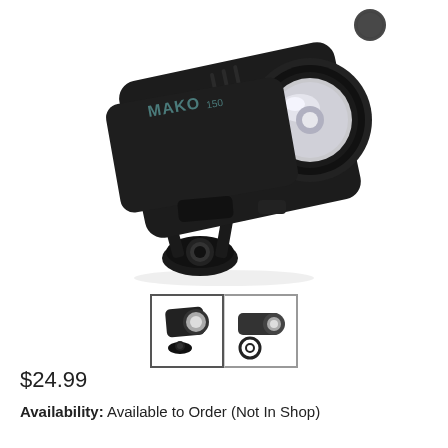[Figure (photo): Product photo of a black MAKO 150 bicycle front light mounted on a handlebar clamp, shown at an angle with the LED lens visible on the right side. The light body has heat fins and the brand name MAKO 150 is visible on the side.]
[Figure (photo): Two small thumbnail images of the MAKO 150 bicycle light showing front and side views, displayed in bordered boxes.]
$24.99
Availability: Available to Order (Not In Shop)